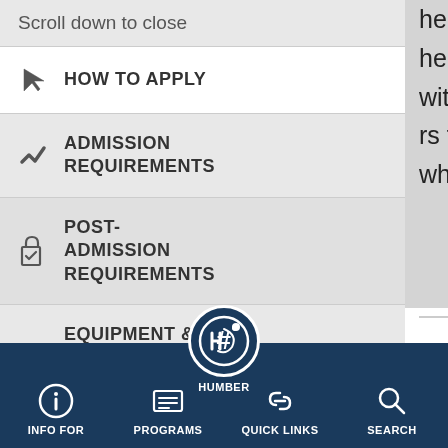herbs and shrubs. As the selection is lush and with low prices, and friendly rs to help visitors find what they were looking for.
HOW TO APPLY
ADMISSION REQUIREMENTS
POST-ADMISSION REQUIREMENTS
EQUIPMENT & DEVICE REQUIREMENTS
FEES & SCHOLARSHIPS
cy Garden
om the Landscape Technician onstructed a beautiful 20’x40’ anquility Garden, on display at o Congress Center. d under the direction of Collin Stlander, the garden
INFO FOR   PROGRAMS   HUMBER   QUICK LINKS   SEARCH